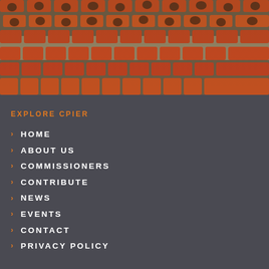[Figure (photo): Aerial view of an auditorium filled with people seated in red/orange chairs, viewed from above at an angle]
EXPLORE CPIER
HOME
ABOUT US
COMMISSIONERS
CONTRIBUTE
NEWS
EVENTS
CONTACT
PRIVACY POLICY